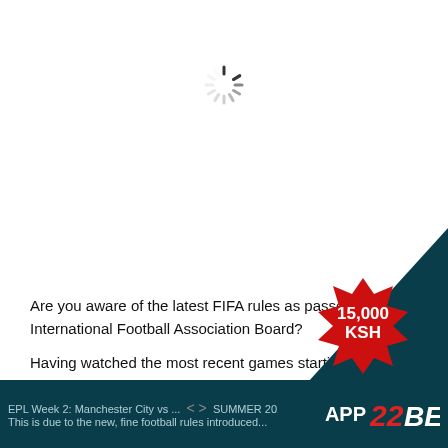[Figure (illustration): A loading spinner icon (circular dashes radiating outward) centered near the top of the page]
Are you aware of the latest FIFA rules as passed by the International Football Association Board?
Having watched the most recent games starting with the first ball touch involving Manchester City vs Liverpool FA community Cup match, you must have seen how the pitch seem to a tone of confusion.
[Figure (logo): Red starburst badge with 15,000 KSH text, and 22BET app logo on dark teal background]
EPL Week 2: Manchester City vs ...  < >  SUMMER 2019 ... This is due to the new, fine football rules introduced...